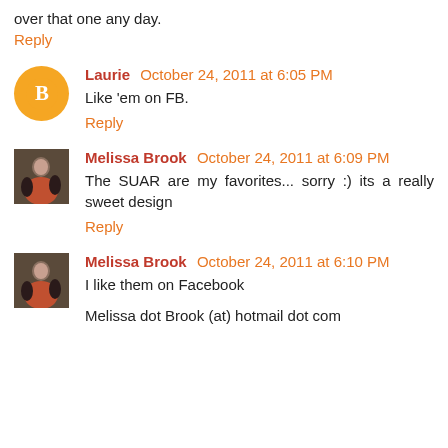over that one any day.
Reply
Laurie  October 24, 2011 at 6:05 PM
Like 'em on FB.
Reply
Melissa Brook  October 24, 2011 at 6:09 PM
The SUAR are my favorites... sorry :) its a really sweet design
Reply
Melissa Brook  October 24, 2011 at 6:10 PM
I like them on Facebook
Melissa dot Brook (at) hotmail dot com